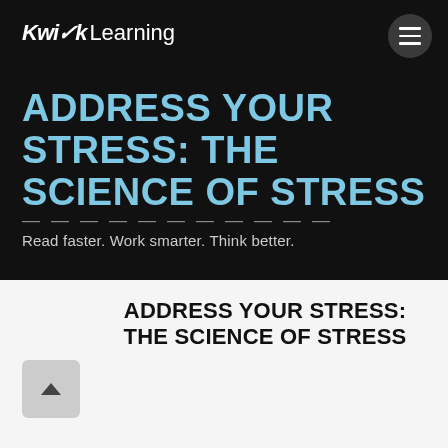Kwik Learning
ADDRESS YOUR STRESS: THE SCIENCE OF STRESS
Read faster. Work smarter. Think better.
ADDRESS YOUR STRESS: THE SCIENCE OF STRESS